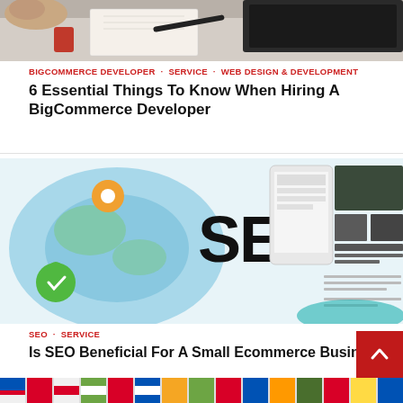[Figure (photo): Top portion of a photo showing people at a desk with laptop, notebook and pen]
BIGCOMMERCE DEVELOPER · SERVICE · WEB DESIGN & DEVELOPMENT
6 Essential Things To Know When Hiring A BigCommerce Developer
[Figure (photo): SEO concept image with globe map, mobile phone wireframes, and large SEO text]
SEO · SERVICE
Is SEO Beneficial For A Small Ecommerce Busine…
[Figure (photo): Bottom strip of colorful keyboard or buttons]